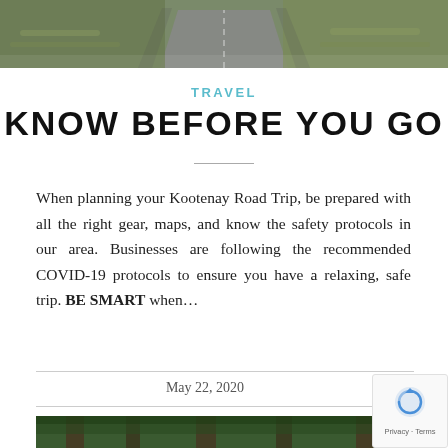[Figure (photo): Aerial view of a winding road through dry grassland/scrubland, top portion of page]
TRAVEL
KNOW BEFORE YOU GO
When planning your Kootenay Road Trip, be prepared with all the right gear, maps, and know the safety protocols in our area. Businesses are following the recommended COVID-19 protocols to ensure you have a relaxing, safe trip. BE SMART when…
May 22, 2020
[Figure (photo): Bottom strip of a forest/nature photo, partially visible]